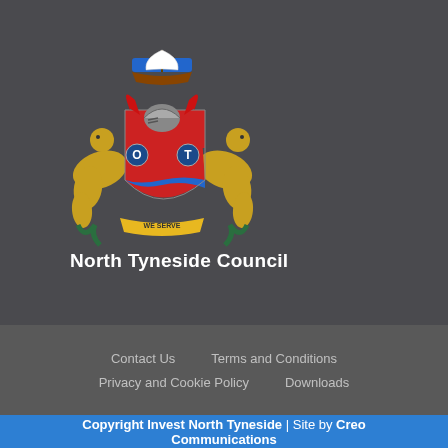[Figure (logo): North Tyneside Council coat of arms / crest featuring a ship, knights helmet, two sea creatures, gold and red shield with blue waves, and a banner reading WE SERVE]
North Tyneside Council
Contact Us
Terms and Conditions
Privacy and Cookie Policy
Downloads
Copyright Invest North Tyneside | Site by Creo Communications